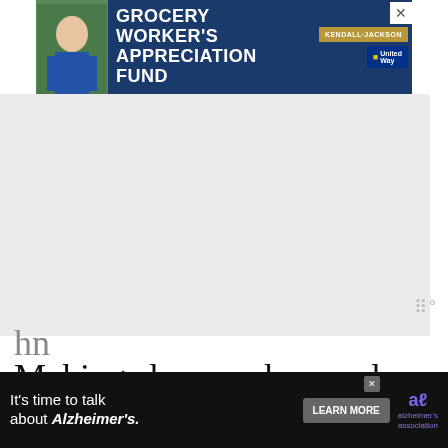[Figure (infographic): Advertisement banner: Grocery Worker's Appreciation Fund with Kendall Jackson and United Way logos, featuring a person in a store setting.]
[Figure (other): Gray advertisement placeholder area]
Making slow cooker apple butter is a great way of preserving apples, using the canning method. Apple Butter is popular around Fall time when there's an abundance of delicious sweet and juicy apples, so make a batch and give as gifts at Christmas time! It's hard to
[Figure (infographic): What's Next panel: How To Make Quick and... with a thumbnail of baked goods]
[Figure (infographic): Bottom advertisement: It's time to talk about Alzheimer's. Learn More button and Alzheimer's Association logo.]